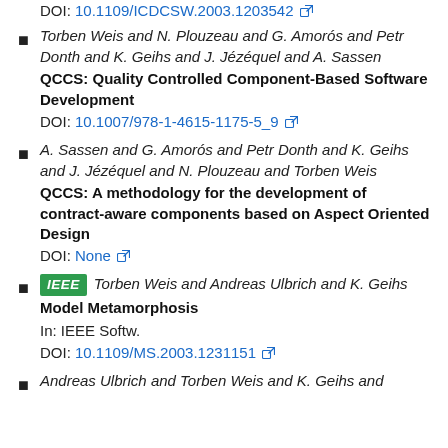DOI: 10.1109/ICDCSW.2003.1203542
Torben Weis and N. Plouzeau and G. Amorós and Petr Donth and K. Geihs and J. Jézéquel and A. Sassen
QCCS: Quality Controlled Component-Based Software Development
DOI: 10.1007/978-1-4615-1175-5_9
A. Sassen and G. Amorós and Petr Donth and K. Geihs and J. Jézéquel and N. Plouzeau and Torben Weis
QCCS: A methodology for the development of contract-aware components based on Aspect Oriented Design
DOI: None
[IEEE] Torben Weis and Andreas Ulbrich and K. Geihs
Model Metamorphosis
In: IEEE Softw.
DOI: 10.1109/MS.2003.1231151
Andreas Ulbrich and Torben Weis and K. Geihs and